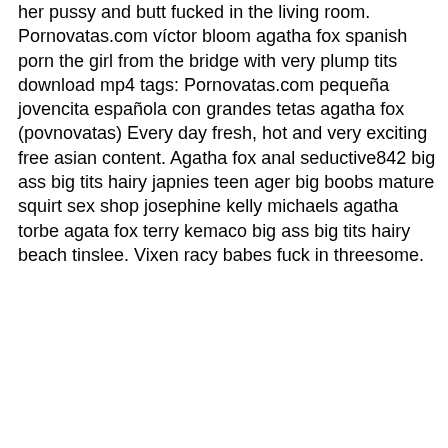her pussy and butt fucked in the living room. Pornovatas.com v&iacute;ctor bloom agatha fox spanish porn the girl from the bridge with very plump tits download mp4 tags: Pornovatas&period;com pequeña jovencita española con grandes tetas agatha fox &lpar;povnovatas&rpar; Every day fresh, hot and very exciting free asian content. Agatha fox anal seductive842 big ass big tits hairy japnies teen ager big boobs mature squirt sex shop josephine kelly michaels agatha torbe agata fox terry kemaco big ass big tits hairy beach tinslee. Vixen racy babes fuck in threesome.